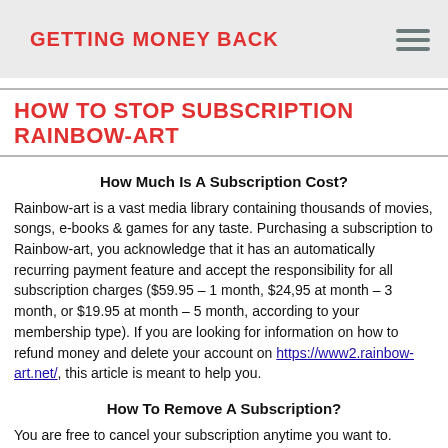GETTING MONEY BACK
HOW TO STOP SUBSCRIPTION RAINBOW-ART
How Much Is A Subscription Cost?
Rainbow-art is a vast media library containing thousands of movies, songs, e-books & games for any taste. Purchasing a subscription to Rainbow-art, you acknowledge that it has an automatically recurring payment feature and accept the responsibility for all subscription charges ($59.95 – 1 month, $24,95 at month – 3 month, or $19.95 at month – 5 month, according to your membership type). If you are looking for information on how to refund money and delete your account on https://www2.rainbow-art.net/, this article is meant to help you.
How To Remove A Subscription?
You are free to cancel your subscription anytime you want to. Early cancellation of committed subscriptions is possible but